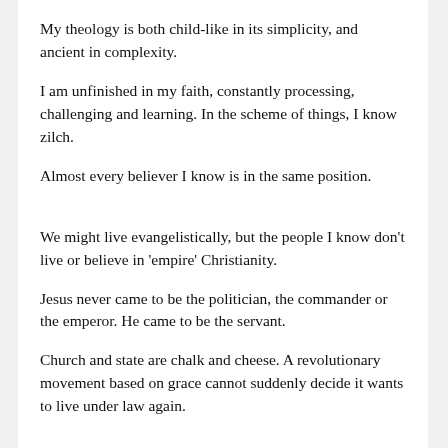My theology is both child-like in its simplicity, and ancient in complexity.
I am unfinished in my faith, constantly processing, challenging and learning. In the scheme of things, I know zilch.
Almost every believer I know is in the same position.
We might live evangelistically, but the people I know don't live or believe in 'empire' Christianity.
Jesus never came to be the politician, the commander or the emperor. He came to be the servant.
Church and state are chalk and cheese. A revolutionary movement based on grace cannot suddenly decide it wants to live under law again.